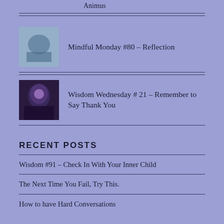Animus
Mindful Monday #80 – Reflection
Wisdom Wednesday # 21 – Remember to Say Thank You
RECENT POSTS
Wisdom #91 – Check In With Your Inner Child
The Next Time You Fail, Try This.
How to have Hard Conversations